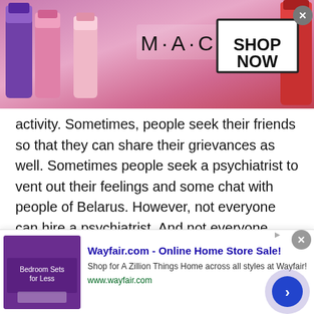[Figure (other): MAC cosmetics advertisement banner showing lipsticks in purple, pink, and red with MAC logo and SHOP NOW button]
activity. Sometimes, people seek their friends so that they can share their grievances as well. Sometimes people seek a psychiatrist to vent out their feelings and some chat with people of Belarus. However, not everyone can hire a psychiatrist. And not everyone likes to share their feelings with their friend or a family member. In this regard platforms like Talkwithstranger come to help the people chat with people of Belarus.
Chat with people of Belarus the way you
[Figure (other): Wayfair.com advertisement banner with bedroom furniture image, headline 'Wayfair.com - Online Home Store Sale!', description text, URL, and navigation arrow button]